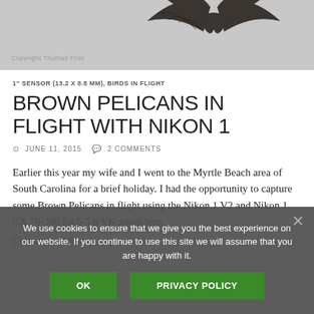[Figure (photo): A bird (pelican) photographed in flight against a light gray sky, wings spread. Copyright Thomas Frier watermark visible at bottom left of photo.]
1" SENSOR (13.2 X 8.8 MM), BIRDS IN FLIGHT
BROWN PELICANS IN FLIGHT WITH NIKON 1
JUNE 11, 2015   2 COMMENTS
Earlier this year my wife and I went to the Myrtle Beach area of South Carolina for a brief holiday. I had the opportunity to capture some Brown Pelicans in flight using the Nikon 1 V2 and Nikon 1 CX 70-300 f/4.5-5.6 VK zoom lens.
Continue reading →
We use cookies to ensure that we give you the best experience on our website. If you continue to use this site we will assume that you are happy with it.